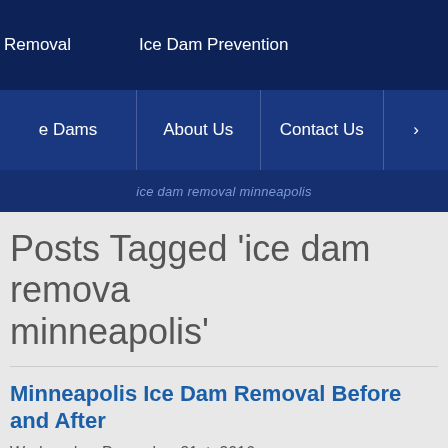Removal   Ice Dam Prevention
e Dams   About Us   Contact Us
ice dam removal minneapolis
Posts Tagged ‘ice dam removal minneapolis’
Minneapolis Ice Dam Removal Before and After
Wednesday, December 21st, 2016
It’s official. The 2016 ice dam season has begun. We had a number of c dams from St. Louis Park, Minneapolis, Edina, Minnetonka and St. Pa steamers than anyone in the country and yet it always feels like a bit o